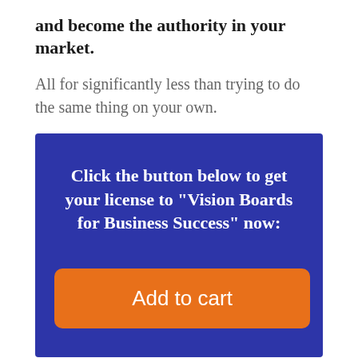and become the authority in your market.
All for significantly less than trying to do the same thing on your own.
Click the button below to get your license to "Vision Boards for Business Success" now:
Add to cart